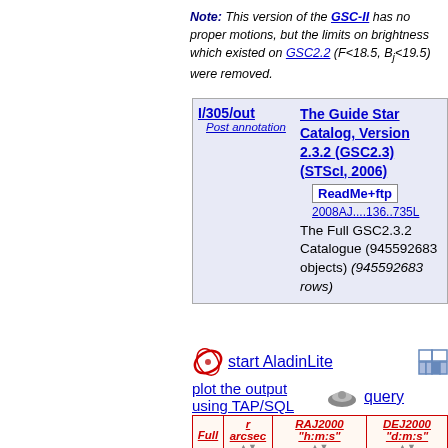Note: This version of the GSC-II has no proper motions, but the limits on brightness which existed on GSC2.2 (F<18.5, Bj<19.5) were removed.
| I/305/out | The Guide Star Catalog, Version 2.3.2 (GSC2.3) (STScI, 2006) |
| --- | --- |
| Post annotation | ReadMe+ftp
2008AJ....136..735L
The Full GSC2.3.2 Catalogue (945592683 objects) (945592683 rows) |
start AladinLite   plot the output using TAP/SQL   query
| Full | r arcsec | RAJ2000 "h:m:s" | DEJ2000 "d:m:s" |
| --- | --- | --- | --- |
| 1 | 2.454 | 20 33 29.30616 | -13 33 11.0... |